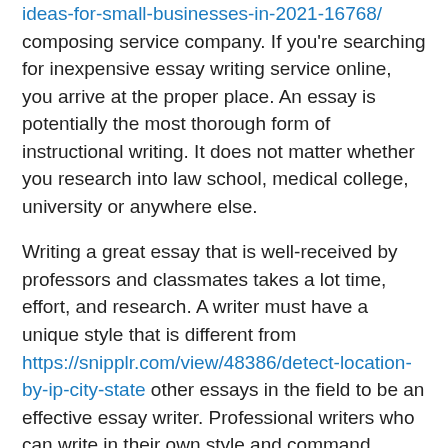ideas-for-small-businesses-in-2021-16768/ composing service company. If you're searching for inexpensive essay writing service online, you arrive at the proper place. An essay is potentially the most thorough form of instructional writing. It does not matter whether you research into law school, medical college, university or anywhere else.
Writing a great essay that is well-received by professors and classmates takes a lot time, effort, and research. A writer must have a unique style that is different from https://snipplr.com/view/48386/detect-location-by-ip-city-state other essays in the field to be an effective essay writer. Professional writers who can write in their own style and command attention are what we seek in essay writers.
Most of us are familiar with the term